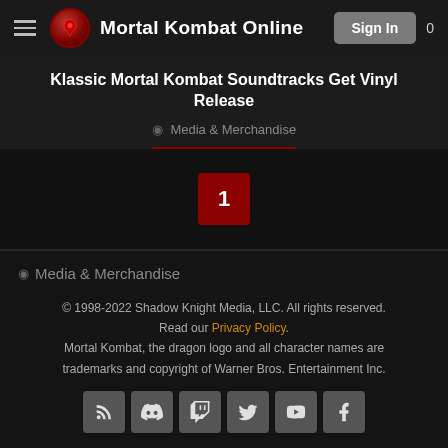Mortal Kombat Online — Sign In
Klassic Mortal Kombat Soundtracks Get Vinyl Release
Media & Merchandise
[Figure (other): Pagination area showing page number 1 in a red box against a dark background]
Media & Merchandise
© 1998-2022 Shadow Knight Media, LLC. All rights reserved. Read our Privacy Policy. Mortal Kombat, the dragon logo and all character names are trademarks and copyright of Warner Bros. Entertainment Inc.